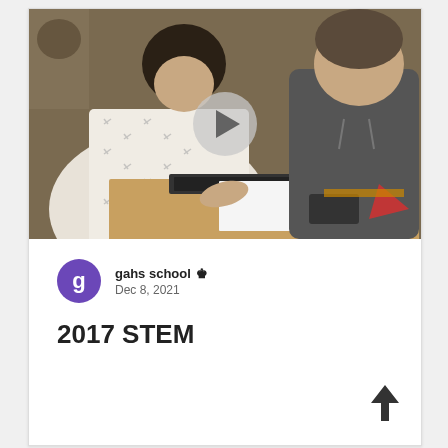[Figure (photo): Two students working together at a desk with a laptop and papers in a classroom setting, with a video play button overlay]
g
gahs school 👑
Dec 8, 2021
2017 STEM